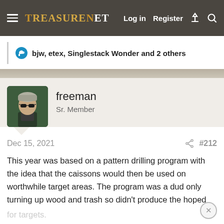TreasureNet  Log in  Register
bjw, etex, Singlestack Wonder and 2 others
freeman
Sr. Member
Dec 15, 2021  #212
This year was based on a pattern drilling program with the idea that the caissons would then be used on worthwhile target areas. The program was a dud only turning up wood and trash so didn't produce the hoped for targets.